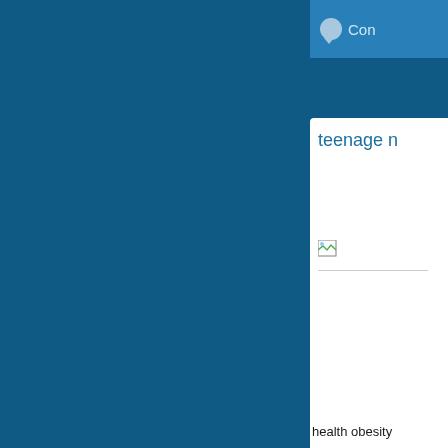Con
teenage n
[Figure (photo): Broken image placeholder icon]
health obesity